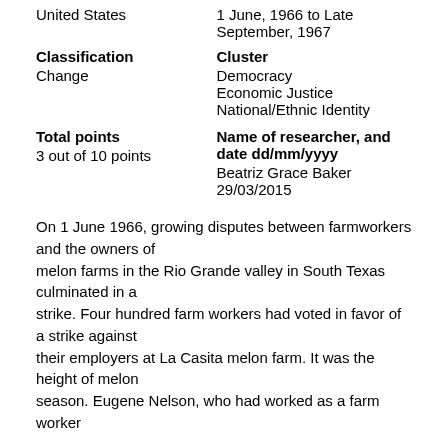| Left | Right |
| --- | --- |
| United States | 1 June, 1966 to Late September, 1967 |
| Classification
Change | Cluster
Democracy
Economic Justice
National/Ethnic Identity |
| Total points
3 out of 10 points | Name of researcher, and date dd/mm/yyyy
Beatriz Grace Baker
29/03/2015 |
On 1 June 1966, growing disputes between farmworkers and the owners of melon farms in the Rio Grande valley in South Texas culminated in a strike. Four hundred farm workers had voted in favor of a strike against their employers at La Casita melon farm. It was the height of melon season. Eugene Nelson, who had worked as a farm worker